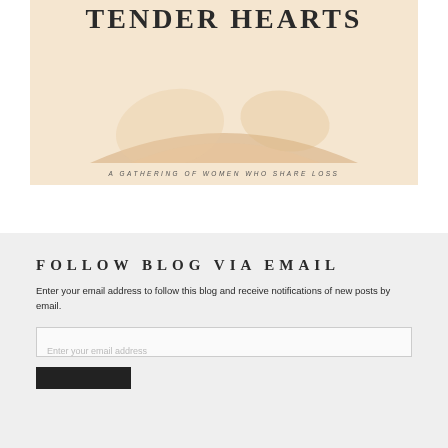[Figure (illustration): Book cover image showing 'TENDER HEARTS' title text at top in bold serif font, abstract warm beige/tan shapes in the middle area, and subtitle text 'A GATHERING OF WOMEN WHO SHARE LOSS' near the bottom, on a warm cream/peach background.]
FOLLOW BLOG VIA EMAIL
Enter your email address to follow this blog and receive notifications of new posts by email.